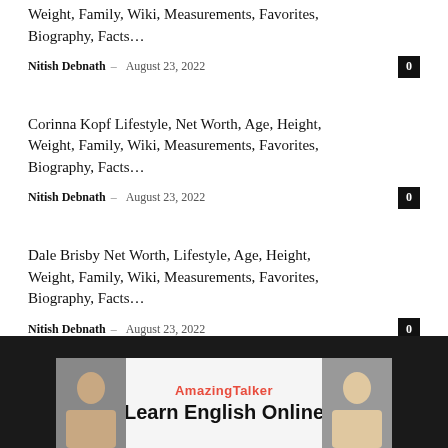Weight, Family, Wiki, Measurements, Favorites, Biography, Facts...
Nitish Debnath – August 23, 2022 | 0
Corinna Kopf Lifestyle, Net Worth, Age, Height, Weight, Family, Wiki, Measurements, Favorites, Biography, Facts...
Nitish Debnath – August 23, 2022 | 0
Dale Brisby Net Worth, Lifestyle, Age, Height, Weight, Family, Wiki, Measurements, Favorites, Biography, Facts...
Nitish Debnath – August 23, 2022 | 0
[Figure (illustration): AmazingTalker ad banner with two people smiling, text: AmazingTalker - Learn English Online]